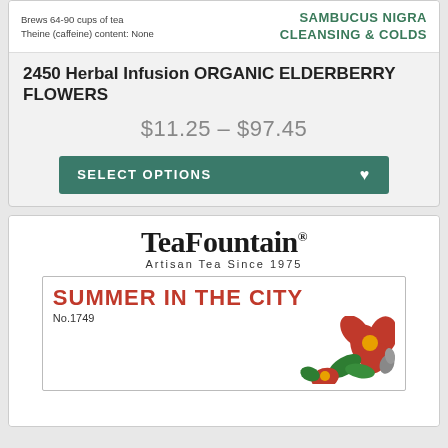[Figure (photo): Top strip of a product card showing text: 'Brews 64-90 cups of tea / Theine (caffeine) content: None' on left and 'SAMBUCUS NIGRA / CLEANSING & COLDS' on right in teal/green bold text]
2450 Herbal Infusion ORGANIC ELDERBERRY FLOWERS
$11.25 – $97.45
SELECT OPTIONS ♥
[Figure (logo): TeaFountain® logo with 'Artisan Tea Since 1975' tagline, followed by a product label box reading 'SUMMER IN THE CITY No.1749' with red flower illustrations]